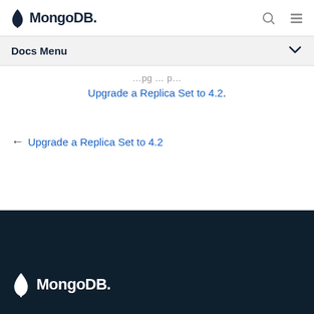MongoDB
Docs Menu
Upgrade a Replica Set to 4.2.
← Upgrade a Replica Set to 4.2
MongoDB